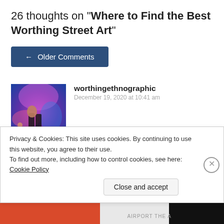26 thoughts on "Where to Find the Best Worthing Street Art"
← Older Comments
worthingethnographic
December 19, 2020 at 10:41 am
Lovely post, thanks for all the research!
Liked by 1 person
Reply
Privacy & Cookies: This site uses cookies. By continuing to use this website, you agree to their use.
To find out more, including how to control cookies, see here: Cookie Policy
Close and accept